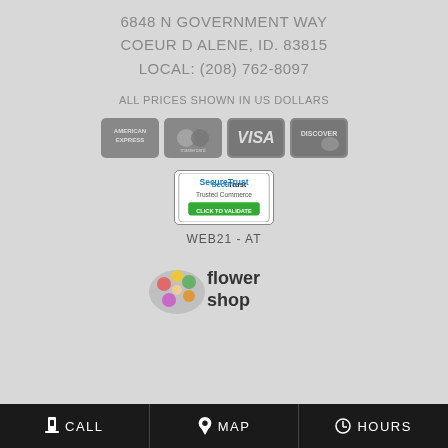6848 N GOVERNMENT WAY
COEUR D ALENE, ID. 83815
LOCAL: (208) 762-8097
ALL PRICES SHOWN IN US DOLLARS
[Figure (logo): Payment method icons: American Express, Mastercard, Visa, Discover]
[Figure (logo): SecureTrust Trusted Commerce - Click to Validate badge]
WEB21 - AT
[Figure (logo): Flower Shop Network logo]
CALL   MAP   HOURS